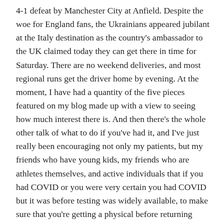4-1 defeat by Manchester City at Anfield. Despite the woe for England fans, the Ukrainians appeared jubilant at the Italy destination as the country's ambassador to the UK claimed today they can get there in time for Saturday. There are no weekend deliveries, and most regional runs get the driver home by evening. At the moment, I have had a quantity of the five pieces featured on my blog made up with a view to seeing how much interest there is. And then there's the whole other talk of what to do if you've had it, and I've just really been encouraging not only my patients, but my friends who have young kids, my friends who are athletes themselves, and active individuals that if you had COVID or you were very certain you had COVID but it was before testing was widely available, to make sure that you're getting a physical before returning back, football accessories that you're talking to somebody who's aware of these guidelines for cardiac testing.